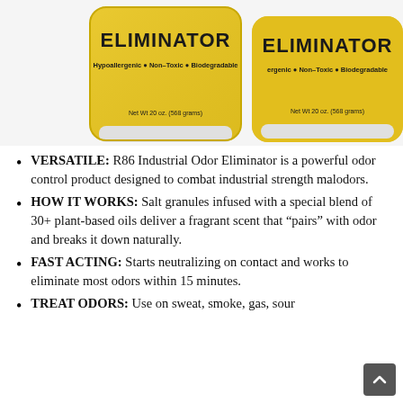[Figure (photo): Two yellow canisters of R86 Industrial Odor Eliminator with text 'Hypoallergenic • Non-Toxic • Biodegradable' and 'Net Wt 20 oz. (568 grams)' on yellow labels.]
VERSATILE: R86 Industrial Odor Eliminator is a powerful odor control product designed to combat industrial strength malodors.
HOW IT WORKS: Salt granules infused with a special blend of 30+ plant-based oils deliver a fragrant scent that “pairs” with odor and breaks it down naturally.
FAST ACTING: Starts neutralizing on contact and works to eliminate most odors within 15 minutes.
TREAT ODORS: Use on sweat, smoke, gas, sour